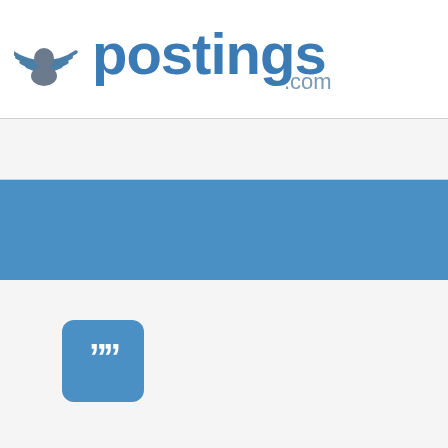[Figure (logo): iPostings.com logo with person/signal icon and blue text reading 'ipostings.com']
[Figure (other): Blue horizontal band/banner across the page]
[Figure (other): Blue rounded square icon with white double closing quotation marks]